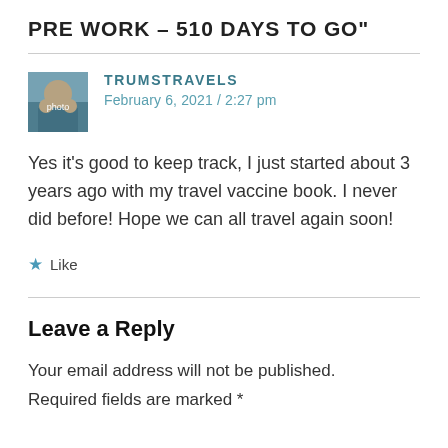PRE WORK – 510 DAYS TO GO"
TRUMSTRAVELS
February 6, 2021 / 2:27 pm
Yes it's good to keep track, I just started about 3 years ago with my travel vaccine book. I never did before! Hope we can all travel again soon!
★ Like
Leave a Reply
Your email address will not be published.
Required fields are marked *